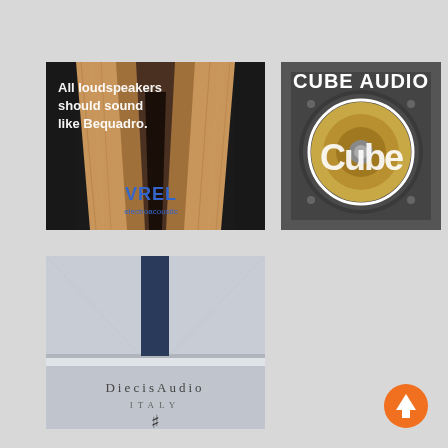[Figure (photo): Close-up of a wooden horn speaker interior with text 'All loudspeakers should sound like Bequadro.' overlaid in white, and VREL electroacoustic logo in blue at the bottom right.]
[Figure (photo): Close-up of a dark speaker driver with a circular Cube Audio logo overlay in white, and 'CUBE AUDIO' text in white at top.]
[Figure (photo): Diesis Audio Italy speaker enclosure showing white/grey cabinet with 'DiесisAudio ITALY' text and a stylized hash/sharp logo symbol below.]
[Figure (illustration): Orange circular button with white upward arrow icon in the bottom right corner of the page.]